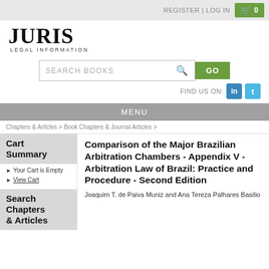REGISTER | LOG IN  0
[Figure (logo): JURIS LEGAL INFORMATION logo]
SEARCH BOOKS  GO
FIND US ON:  in  t
MENU
Chapters & Articles > Book Chapters & Journal Articles >
Cart Summary
Your Cart is Empty
View Cart
Search Chapters & Articles
Comparison of the Major Brazilian Arbitration Chambers - Appendix V - Arbitration Law of Brazil: Practice and Procedure - Second Edition
Joaquim T. de Paiva Muniz and Ana Tereza Palhares Basilio